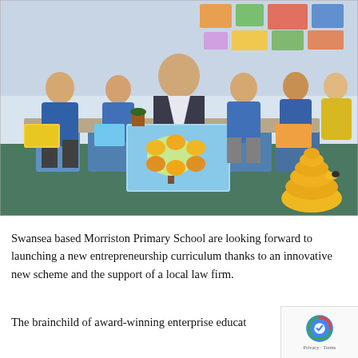[Figure (photo): A man in a suit sitting with five primary school children in a classroom. He is holding a large colourful poster featuring a tree with honeycomb/bee-themed educational materials. The children hold books and there are plant pots visible. A yellow beehive prop sits on the right side of the image. Children are wearing blue and yellow school uniforms.]
Swansea based Morriston Primary School are looking forward to launching a new entrepreneurship curriculum thanks to an innovative new scheme and the support of a local law firm.
The brainchild of award-winning enterprise educator